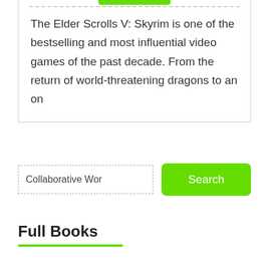The Elder Scrolls V: Skyrim is one of the bestselling and most influential video games of the past decade. From the return of world-threatening dragons to an on
Collaborative Wor
Full Books